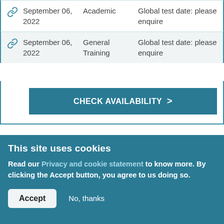|  | Date | Type | Info |
| --- | --- | --- | --- |
| 🔗 | September 06, 2022 | Academic | Global test date: please enquire |
| 🔗 | September 06, 2022 | General Training | Global test date: please enquire |
CHECK AVAILABILITY >
British Council - CD IELTS, Mumbai (Lower Parel) (UKVI test location)
Test dates are subject to availability. Please check
This site uses cookies
Read our Privacy and cookie statement to know more. By clicking the Accept button, you agree to us doing so.
Accept   No, thanks